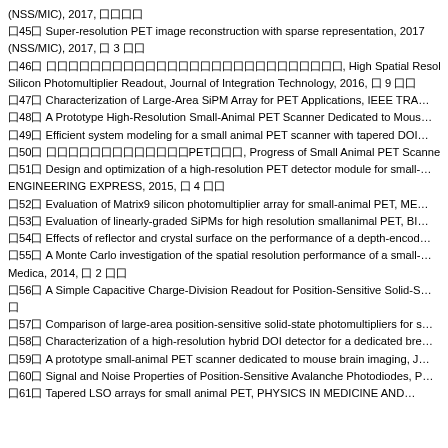(NSS/MIC), 2017, 囗囗囗囗
囗45囗 Super-resolution PET image reconstruction with sparse representation, 2017 (NSS/MIC), 2017, 囗 3 囗囗
囗46囗 囗囗囗囗囗囗囗囗囗囗囗囗囗囗囗囗囗囗囗囗囗囗囗囗囗囗囗, High Spatial Resolution and High Sensitivity Three Di… Silicon Photomultiplier Readout, Journal of Integration Technology, 2016, 囗 9 囗囗
囗47囗 Characterization of Large-Area SiPM Array for PET Applications, IEEE TRA…
囗48囗 A Prototype High-Resolution Small-Animal PET Scanner Dedicated to Mous…
囗49囗 Efficient system modeling for a small animal PET scanner with tapered DOI…
囗50囗 囗囗囗囗囗囗囗囗囗囗囗囗囗PET囗囗囗, Progress of Small Animal PET Scanners with High Spatia…
囗51囗 Design and optimization of a high-resolution PET detector module for small-… ENGINEERING EXPRESS, 2015, 囗 4 囗囗
囗52囗 Evaluation of Matrix9 silicon photomultiplier array for small-animal PET, ME…
囗53囗 Evaluation of linearly-graded SiPMs for high resolution smallanimal PET, BI…
囗54囗 Effects of reflector and crystal surface on the performance of a depth-encod…
囗55囗 A Monte Carlo investigation of the spatial resolution performance of a small-… Medica, 2014, 囗 2 囗囗
囗56囗 A Simple Capacitive Charge-Division Readout for Position-Sensitive Solid-S… 囗
囗57囗 Comparison of large-area position-sensitive solid-state photomultipliers for s…
囗58囗 Characterization of a high-resolution hybrid DOI detector for a dedicated bre…
囗59囗 A prototype small-animal PET scanner dedicated to mouse brain imaging, J…
囗60囗 Signal and Noise Properties of Position-Sensitive Avalanche Photodiodes, P…
囗61囗 Tapered LSO arrays for small animal PET, PHYSICS IN MEDICINE AND…